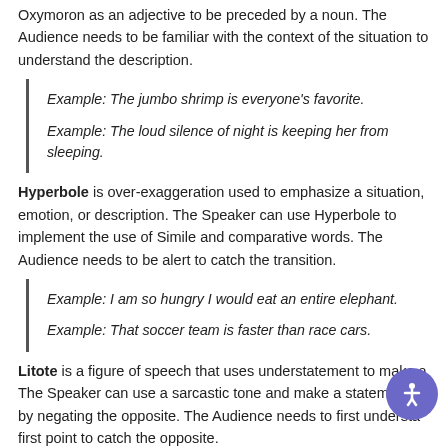Oxymoron as an adjective to be preceded by a noun. The Audience needs to be familiar with the context of the situation to understand the description.
Example: The jumbo shrimp is everyone's favorite.
Example: The loud silence of night is keeping her from sleeping.
Hyperbole is over-exaggeration used to emphasize a situation, emotion, or description. The Speaker can use Hyperbole to implement the use of Simile and comparative words. The Audience needs to be alert to catch the transition.
Example: I am so hungry I would eat an entire elephant.
Example: That soccer team is faster than race cars.
Litote is a figure of speech that uses understatement to make a... The Speaker can use a sarcastic tone and make a statement a... by negating the opposite. The Audience needs to first understand... first point to catch the opposite.